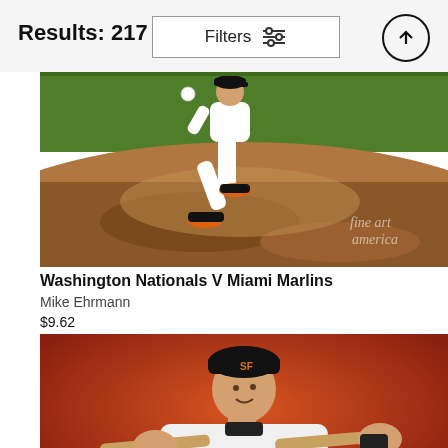Results: 217
Filters
[Figure (photo): Baseball pitcher mid-pitch on mound, wearing white uniform with orange accents, green grass and brown dirt visible, Fine Art America watermark in bottom right]
Washington Nationals V Miami Marlins
Mike Ehrmann
$9.62
[Figure (photo): San Francisco Giants baseball player in white GIANTS uniform holding a bat across his shoulders, posing against an orange-red background, wearing black SF Giants cap]